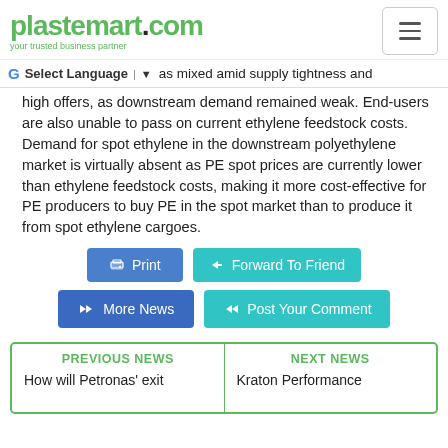plastemart.com - your trusted business partner
was mixed amid supply tightness and high offers, as downstream demand remained weak. End-users are also unable to pass on current ethylene feedstock costs. Demand for spot ethylene in the downstream polyethylene market is virtually absent as PE spot prices are currently lower than ethylene feedstock costs, making it more cost-effective for PE producers to buy PE in the spot market than to produce it from spot ethylene cargoes.
PREVIOUS NEWS
How will Petronas' exit
NEXT NEWS
Kraton Performance